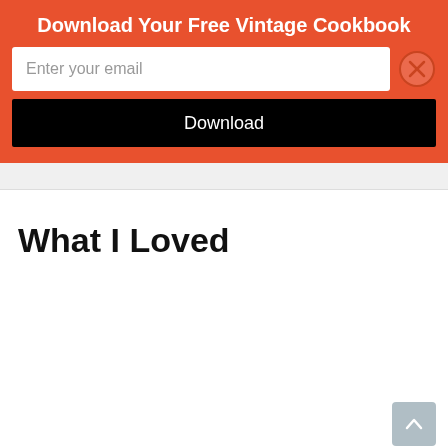Download Your Free Vintage Cookbook
Enter your email
Download
What I Loved